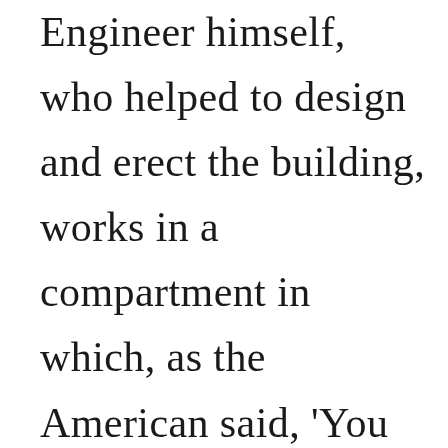Engineer himself, who helped to design and erect the building, works in a compartment in which, as the American said, 'You couldn't cuss a cat without getting hair